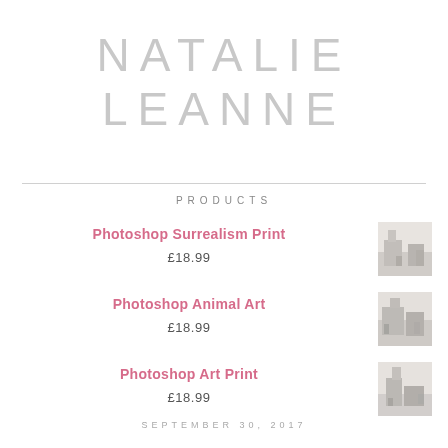NATALIE LEANNE
PRODUCTS
Photoshop Surrealism Print
£18.99
Photoshop Animal Art
£18.99
Photoshop Art Print
£18.99
SEPTEMBER 30, 2017